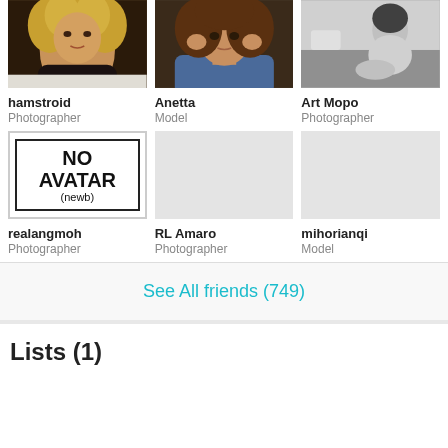[Figure (photo): Profile photo grid row 1: hamstroid (woman with curly blonde hair), Anetta (woman with curly brown hair), Art Mopo (black and white photo of woman sitting on bed)]
hamstroid
Photographer
Anetta
Model
Art Mopo
Photographer
[Figure (photo): Profile photo grid row 2: realangmoh (no avatar / newb placeholder), RL Amaro (blank gray), mihorianqi (blank gray)]
realangmoh
Photographer
RL Amaro
Photographer
mihorianqi
Model
See All friends (749)
Lists (1)